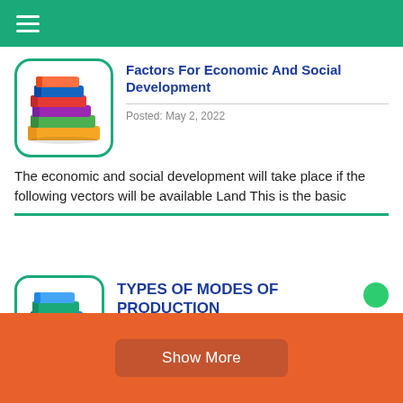≡
[Figure (illustration): Stack of colorful books icon with teal rounded border]
Factors For Economic And Social Development
Posted: May 2, 2022
The economic and social development will take place if the following vectors will be available Land This is the basic
[Figure (illustration): Stack of blue and orange books icon with teal rounded border]
TYPES OF MODES OF PRODUCTION
Show More